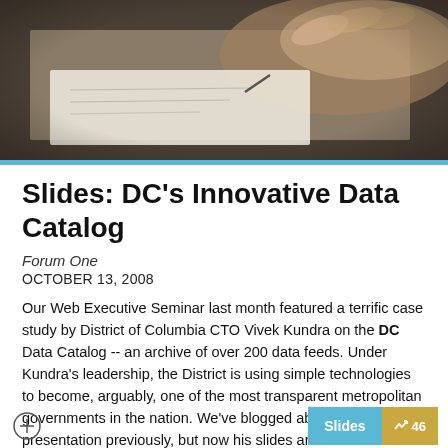[Figure (photo): A person's hand writing on paper, dark/neutral background, close-up shot]
Slides: DC's Innovative Data Catalog
Forum One
OCTOBER 13, 2008
Our Web Executive Seminar last month featured a terrific case study by District of Columbia CTO Vivek Kundra on the DC Data Catalog -- an archive of over 200 data feeds. Under Kundra's leadership, the District is using simple technologies to become, arguably, one of the most transparent metropolitan governments in the nation. We've blogged about Kundra's presentation previously, but now his slides are available for the first time (with audio). I've embedded them below. Enjoy!